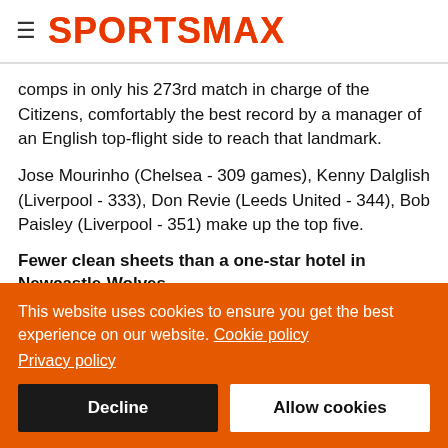≡ SPORTSMAX
comps in only his 273rd match in charge of the Citizens, comfortably the best record by a manager of an English top-flight side to reach that landmark.
Jose Mourinho (Chelsea - 309 games), Kenny Dalglish (Liverpool - 333), Don Revie (Leeds United - 344), Bob Paisley (Liverpool - 351) make up the top five.
Fewer clean sheets than a one-star hotel in Newcastle-Wolves
This website uses cookies to ensure you get the best experience on our website. Cookie policy
Privacy policy
Decline | Allow cookies